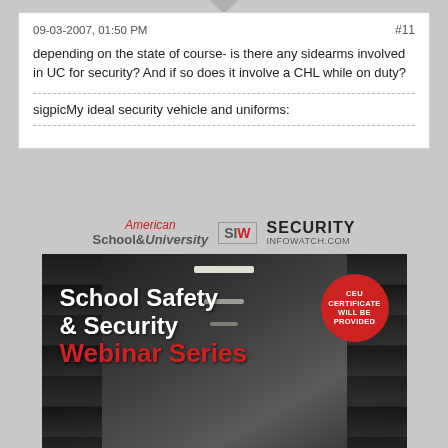09-03-2007, 01:50 PM
#11
depending on the state of course- is there any sidearms involved in UC for security? And if so does it involve a CHL while on duty?
sigpicMy ideal security vehicle and uniforms:
[Figure (logo): American School & University logo and SIW Security Infowatch.com logo]
[Figure (photo): School Safety & Security Webinar Series advertisement with school hallway background, red CEU Certificate badge, and Register Today button on cyan bar]